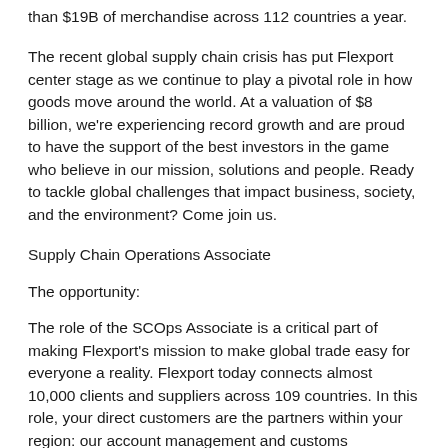than $19B of merchandise across 112 countries a year.
The recent global supply chain crisis has put Flexport center stage as we continue to play a pivotal role in how goods move around the world. At a valuation of $8 billion, we're experiencing record growth and are proud to have the support of the best investors in the game who believe in our mission, solutions and people. Ready to tackle global challenges that impact business, society, and the environment? Come join us.
Supply Chain Operations Associate
The opportunity:
The role of the SCOps Associate is a critical part of making Flexport's mission to make global trade easy for everyone a reality. Flexport today connects almost 10,000 clients and suppliers across 109 countries. In this role, your direct customers are the partners within your region: our account management and customs